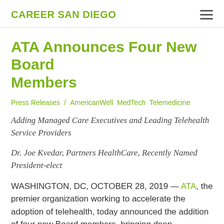CAREER SAN DIEGO
ATA Announces Four New Board Members
Press Releases / AmericanWell  MedTech  Telemedicine
Adding Managed Care Executives and Leading Telehealth Service Providers
Dr. Joe Kvedar, Partners HealthCare, Recently Named President-elect
WASHINGTON, DC, OCTOBER 28, 2019 — ATA, the premier organization working to accelerate the adoption of telehealth, today announced the addition of four new Board members, bringing deep experience in managed care and virtual care